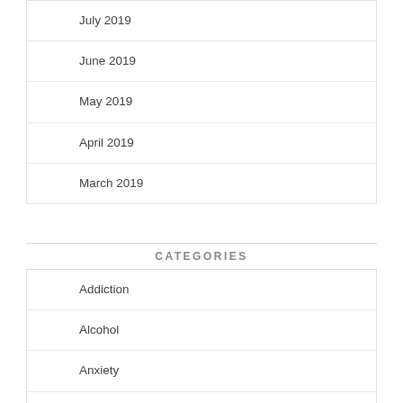July 2019
June 2019
May 2019
April 2019
March 2019
CATEGORIES
Addiction
Alcohol
Anxiety
Book Review